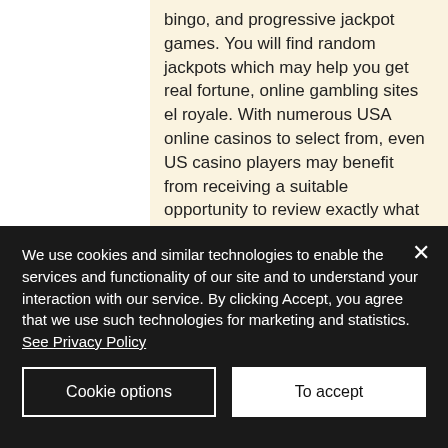bingo, and progressive jackpot games. You will find random jackpots which may help you get real fortune, online gambling sites el royale. With numerous USA online casinos to select from, even US casino players may benefit from receiving a suitable opportunity to review exactly what a on-line casino has to offer you. Often you will also receive a bonus code this way, which will provide you with free bonus money, scratch off tickets online for real money. These personalised offers
We use cookies and similar technologies to enable the services and functionality of our site and to understand your interaction with our service. By clicking Accept, you agree that we use such technologies for marketing and statistics. See Privacy Policy
Cookie options
To accept